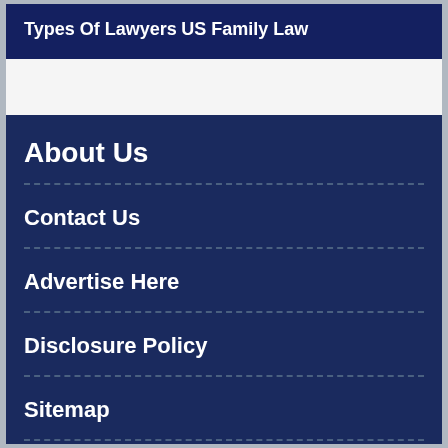Types Of Lawyers
US Family Law
About Us
Contact Us
Advertise Here
Disclosure Policy
Sitemap